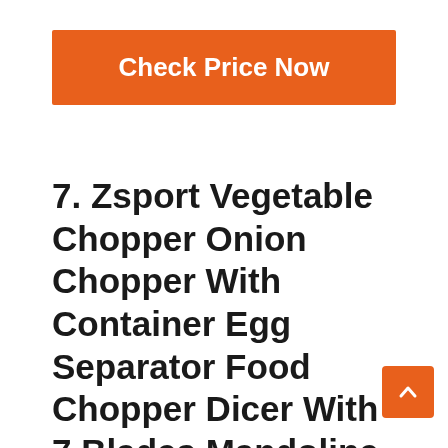Check Price Now
7. Zsport Vegetable Chopper Onion Chopper With Container Egg Separator Food Chopper Dicer With 7 Blades Mandoline Slicer Vegetable Cutter For Tomato Cheese Potato Fruit Salad, Gray